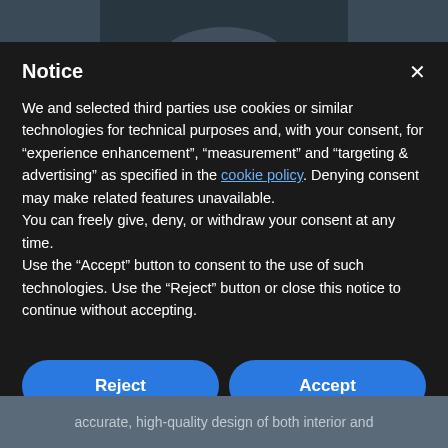[Figure (screenshot): Dark blurred background image visible at the top and bottom of the page behind a cookie consent modal dialog]
Notice
We and selected third parties use cookies or similar technologies for technical purposes and, with your consent, for "experience enhancement", "measurement" and "targeting & advertising" as specified in the cookie policy. Denying consent may make related features unavailable.
You can freely give, deny, or withdraw your consent at any time.
Use the "Accept" button to consent to the use of such technologies. Use the "Reject" button or close this notice to continue without accepting.
Reject
Accept
Learn more and customise
accurate, high-quality design of both interior and